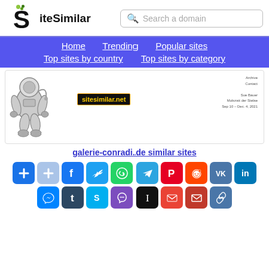[Figure (logo): SiteSimilar logo with stylized S and green dots]
Search a domain
Home  Trending  Popular sites  Top sites by country  Top sites by category
[Figure (screenshot): Preview screenshot of galerie-conradi.de showing astronaut illustration and sitesimilar.net badge]
galerie-conradi.de similar sites
[Figure (infographic): Social sharing buttons grid: AddThis, AddThis light, Facebook, Twitter, WhatsApp, Telegram, Pinterest, Reddit, VK, LinkedIn, Messenger, Tumblr, Skype, Viber, Instapaper, Gmail, Email, Copy link]